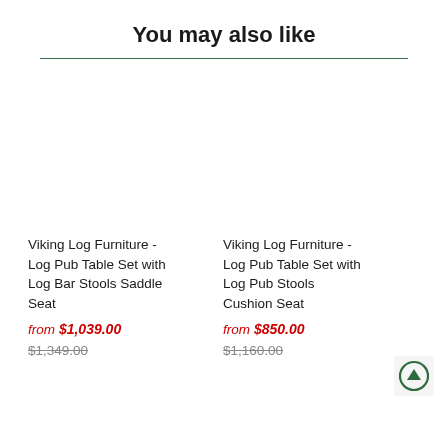You may also like
Viking Log Furniture - Log Pub Table Set with Log Bar Stools Saddle Seat
from $1,039.00
$1,349.00
Viking Log Furniture - Log Pub Table Set with Log Pub Stools Cushion Seat
from $850.00
$1,160.00